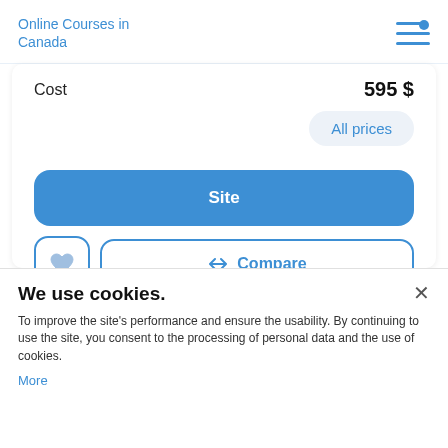Online Courses in Canada
Cost  595 $
All prices
Site
Compare
We use cookies.
To improve the site's performance and ensure the usability. By continuing to use the site, you consent to the processing of personal data and the use of cookies.
More